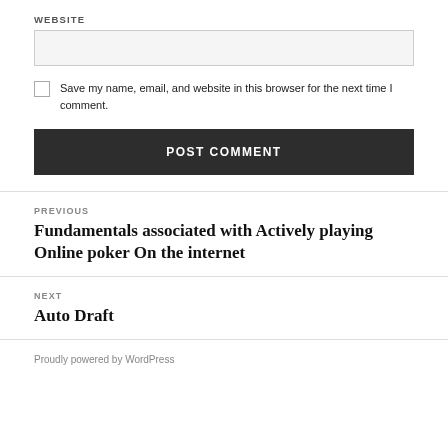WEBSITE
Save my name, email, and website in this browser for the next time I comment.
POST COMMENT
PREVIOUS
Fundamentals associated with Actively playing Online poker On the internet
NEXT
Auto Draft
Proudly powered by WordPress